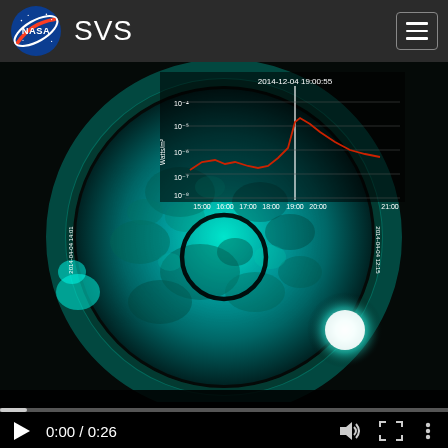NASA SVS
[Figure (screenshot): NASA SVS video player showing a solar flare event. The video shows the Sun in extreme ultraviolet (EUV) imaging (teal/cyan false color), with a bright flare visible in the lower right. Overlaid is an X-ray flux graph with time axis (14:00 to 21:00+) and intensity axis (10^-8 to 10^-4 Watts/m^2), with a red line showing flux peaking around 19:00. The timestamp '2014-12-04 19:00:55' is shown. A black circle marks a region on the sun. The video player shows 0:00 / 0:26 with play, volume, fullscreen, and menu controls, and a progress bar at the bottom.]
0:00 / 0:26